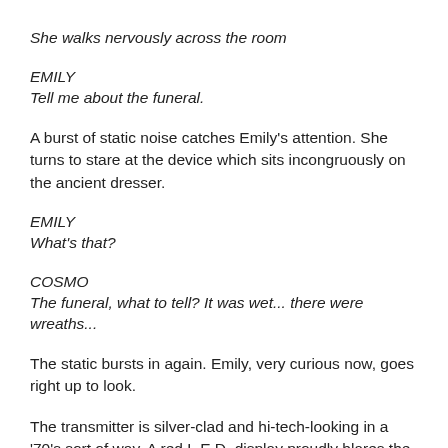She walks nervously across the room
EMILY
Tell me about the funeral.
A burst of static noise catches Emily's attention. She turns to stare at the device which sits incongruously on the ancient dresser.
EMILY
What's that?
COSMO
The funeral, what to tell? It was wet... there were wreaths...
The static bursts in again. Emily, very curious now, goes right up to look.
The transmitter is silver-clad and hi-tech-looking in a '70's sort of way. A red L.E.D. display proudly blares the digits '11Æ and a large hand-held microphone is slung carelessly